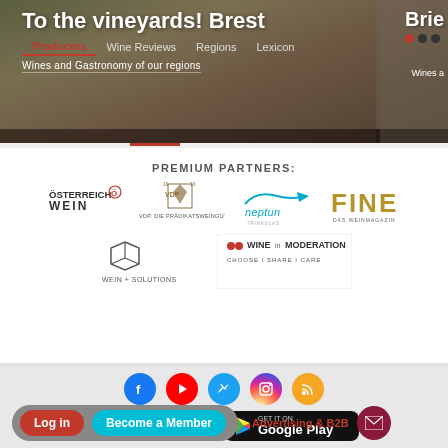[Figure (screenshot): Website header with navigation bar showing 'Producers', 'Wine Reviews', 'Regions', 'Lexicon' and partial hero image with title 'To the vineyards! Brest' and subtitle 'Wines and Gastronomy of our regions'. Partial 'Brie' card visible on right.]
PREMIUM PARTNERS:
[Figure (logo): Österreich Wein logo]
[Figure (logo): VDP Die Prädikatsweingüter logo]
[Figure (logo): Neptun logo]
[Figure (logo): FINE Das Weinmagazin logo]
[Figure (logo): Wein + Solutions logo]
[Figure (logo): Wine in Moderation - Choose Share Care logo]
[Figure (infographic): Social media icons: Facebook, YouTube, Twitter, Instagram, RSS feed]
[Figure (infographic): App store download buttons: Download on the App Store, Get it on Google Play]
[Figure (infographic): Bottom CTA bar with Log in button, Become a Member button, Advertising & B2B link, and mail icon button]